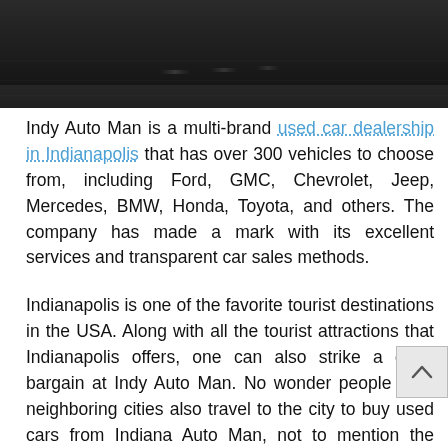[Figure (photo): Dark photograph of a road or pavement, partially visible at the top of the page]
Indy Auto Man is a multi-brand used car dealership in Indianapolis that has over 300 vehicles to choose from, including Ford, GMC, Chevrolet, Jeep, Mercedes, BMW, Honda, Toyota, and others. The company has made a mark with its excellent services and transparent car sales methods.
Indianapolis is one of the favorite tourist destinations in the USA. Along with all the tourist attractions that Indianapolis offers, one can also strike a good bargain at Indy Auto Man. No wonder people from neighboring cities also travel to the city to buy used cars from Indiana Auto Man, not to mention the locals who love the speed, choices, and quality of its service.
Due to their honest car sales practices, friendly service, a huge selection of used cars from top car brands, an active community outreach, the dealer has received hundreds of 5-star reviews from Indiana customers.